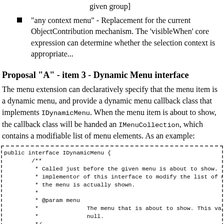given group]
"any context menu" - Replacement for the current ObjectContribution mechanism. The 'visibleWhen' core expression can determine whether the selection context is appropriate...
Proposal "A" - item 3 - Dynamic Menu interface
The menu extension can declaratively specify that the menu item is a dynamic menu, and provide a dynamic menu callback class that implements IDynamicMenu. When the menu item is about to show, the callback class will be handed an IMenuCollection, which contains a modifiable list of menu elements. As an example:
public interface IDynamicMenu {
        /**
         * Called just before the given menu is about to show. This al
         * implementor of this interface to modify the list of menu el
         * the menu is actually shown.
         *
         * @param menu
         *              The menu that is about to show. This value is ne
         *              null.
         */